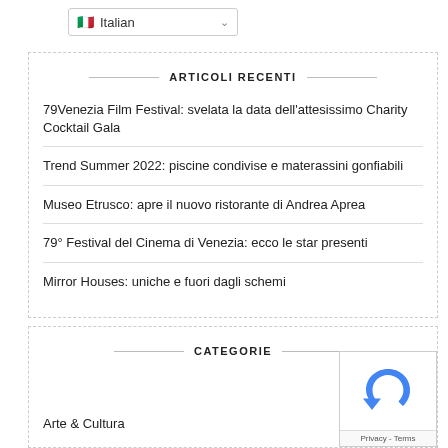[Figure (screenshot): Language selector dropdown showing Italian flag and 'Italian' text with chevron]
ARTICOLI RECENTI
79Venezia Film Festival: svelata la data dell'attesissimo Charity Cocktail Gala
Trend Summer 2022: piscine condivise e materassini gonfiabili
Museo Etrusco: apre il nuovo ristorante di Andrea Aprea
79° Festival del Cinema di Venezia: ecco le star presenti
Mirror Houses: uniche e fuori dagli schemi
CATEGORIE
Arte & Cultura